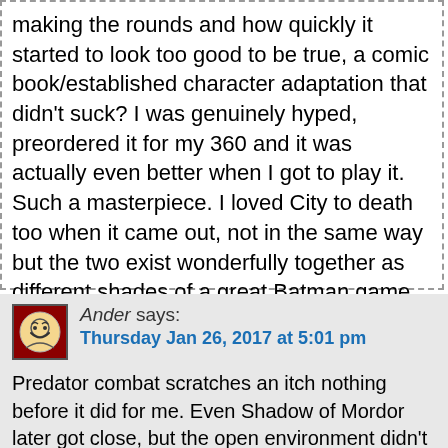making the rounds and how quickly it started to look too good to be true, a comic book/established character adaptation that didn't suck? I was genuinely hyped, preordered it for my 360 and it was actually even better when I got to play it. Such a masterpiece. I loved City to death too when it came out, not in the same way but the two exist wonderfully together as different shades of a great Batman game. Curious to see your praise, critique and Dark Souls angle on this. Exciting Thursdays to come!
Reply
Ander says: Thursday Jan 26, 2017 at 5:01 pm
Predator combat scratches an itch nothing before it did for me. Even Shadow of Mordor later got close, but the open environment didn't give the same feel as Arkham. City relative to Asylum has the same difference for me.